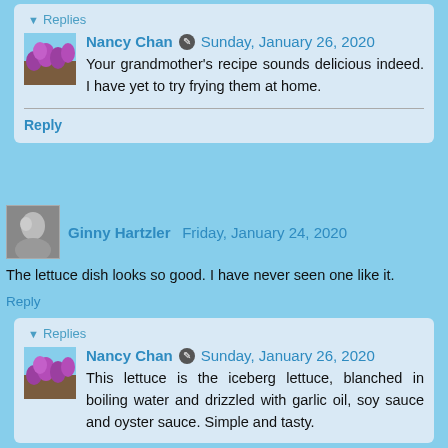▼ Replies
Nancy Chan · Sunday, January 26, 2020
Your grandmother's recipe sounds delicious indeed. I have yet to try frying them at home.
Reply
Ginny Hartzler  Friday, January 24, 2020
The lettuce dish looks so good. I have never seen one like it.
Reply
▼ Replies
Nancy Chan · Sunday, January 26, 2020
This lettuce is the iceberg lettuce, blanched in boiling water and drizzled with garlic oil, soy sauce and oyster sauce. Simple and tasty.